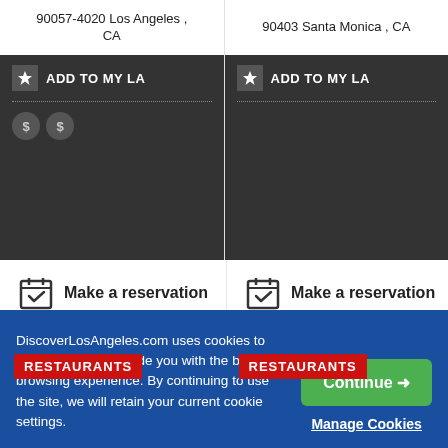90057-4020 Los Angeles , CA
90403 Santa Monica , CA
ADD TO MY LA
ADD TO MY LA
Make a reservation
Make a reservation
[Figure (photo): Food photo with RESTAURANTS badge overlay - pizza on wooden board with dipping sauce]
[Figure (photo): Food photo with RESTAURANTS badge overlay - flatbread or crackers]
DiscoverLosAngeles.com uses cookies to ensure that we provide you with the best browsing experience. By continuing to use the site, we will retain your current cookie settings.
Continue →
Manage Cookies